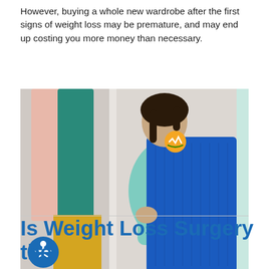However, buying a whole new wardrobe after the first signs of weight loss may be premature, and may end up costing you more money than necessary.
[Figure (photo): A woman holding up a blue top against herself, standing in front of a wardrobe with pink and teal clothing hanging. A health/heartbeat emoji icon is overlaid on the image. An accessibility icon is in the bottom-left corner of the image.]
Continue reading
Is Weight Loss Surgery the